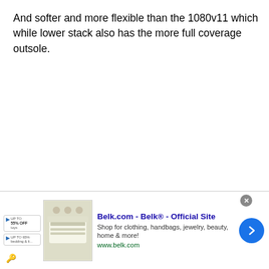And softer and more flexible than the 1080v11 which while lower stack also has the more full coverage outsole.
The inherent stability is there but in no way noticed, after the
[Figure (screenshot): Advertisement banner for Belk.com - Belk® - Official Site. Shows badges with discounts, a bedding product image, title 'Belk.com - Belk® - Official Site', description 'Shop for clothing, handbags, jewelry, beauty, home & more!', URL 'www.belk.com', a blue circular arrow button, a close (X) button, and an info arrow.]